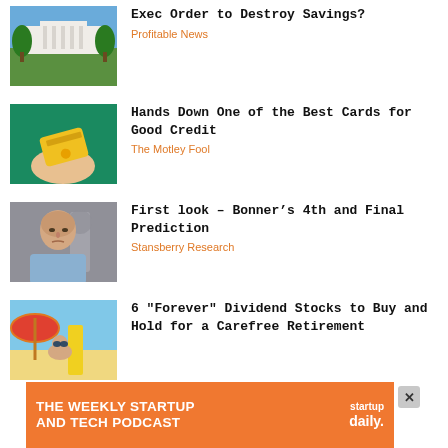[Figure (photo): White House exterior photo]
Exec Order to Destroy Savings?
Profitable News
[Figure (photo): Hand holding a gold/yellow credit card on teal background]
Hands Down One of the Best Cards for Good Credit
The Motley Fool
[Figure (photo): Older bald man in blue shirt, serious expression]
First look — Bonner's 4th and Final Prediction
Stansberry Research
[Figure (photo): Woman at beach with umbrella in background]
6 "Forever" Dividend Stocks to Buy and Hold for a Carefree Retirement
[Figure (other): Advertisement banner: THE WEEKLY STARTUP AND TECH PODCAST - startup daily.]